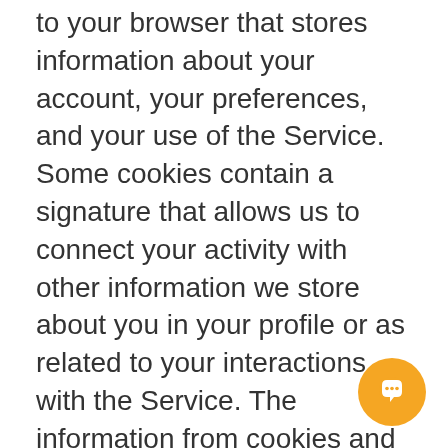to your browser that stores information about your account, your preferences, and your use of the Service. Some cookies contain a signature that allows us to connect your activity with other information we store about you in your profile or as related to your interactions with the Service. The information from cookies and related technology is stored in web server logs and also in web cookies kept on your computers or devices, which are then
[Figure (other): Orange circular chat/support button with a speech bubble icon in the bottom right corner]